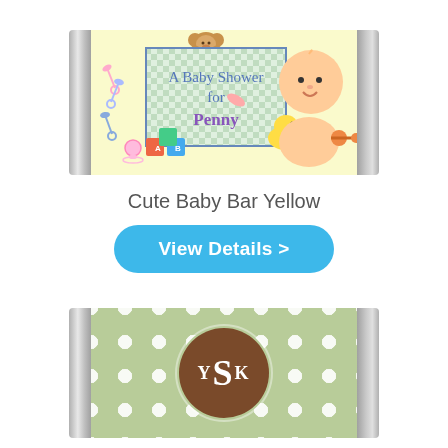[Figure (illustration): Chocolate candy bar with silver foil ends and a yellow baby shower label. The label shows a cute crawling baby, a teddy bear, safety pins, alphabet blocks, a rubber duck, a rattle, and a checkered text box reading 'A Baby Shower for Penny'.]
Cute Baby Bar Yellow
View Details >
[Figure (illustration): Chocolate candy bar with silver foil ends and a light green polka dot label. A brown circle monogram in the center displays 'YSK' with the S larger than the Y and K.]